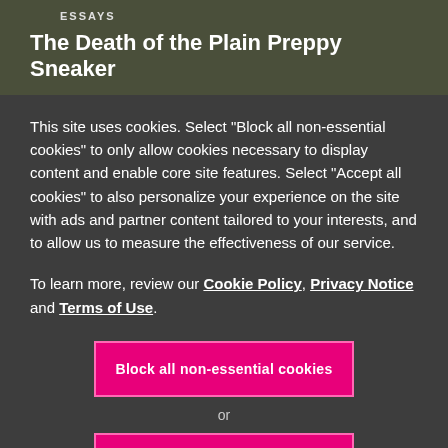ESSAYS
The Death of the Plain Preppy Sneaker
This site uses cookies. Select "Block all non-essential cookies" to only allow cookies necessary to display content and enable core site features. Select "Accept all cookies" to also personalize your experience on the site with ads and partner content tailored to your interests, and to allow us to measure the effectiveness of our service.
To learn more, review our Cookie Policy, Privacy Notice and Terms of Use.
Block all non-essential cookies
or
Accept all cookies